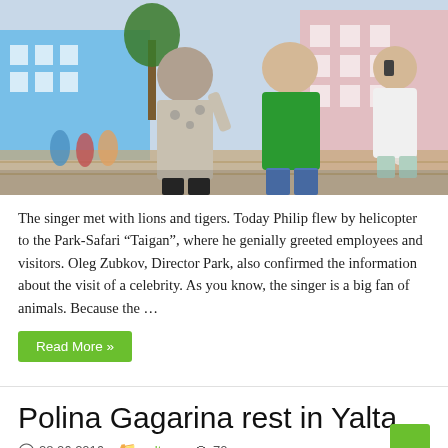[Figure (photo): Outdoor photo of two men walking in a sunny plaza. One man wearing a patterned black and white shirt on the left, another in a green t-shirt in the center. A third person in white on the right. Background shows colorful buildings and a crowd of visitors.]
The singer met with lions and tigers. Today Philip flew by helicopter to the Park-Safari “Taigan”, where he genially greeted employees and visitors. Oleg Zubkov, Director Park, also confirmed the information about the visit of a celebrity. As you know, the singer is a big fan of animals. Because the …
Read More »
Polina Gagarina rest in Yalta
28.06.2016   culture   70